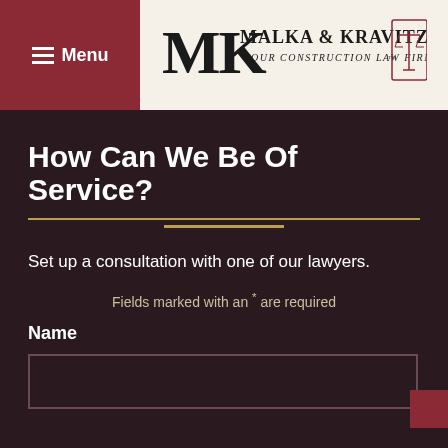Menu
[Figure (logo): Malka & Kravitz, P.A. — Your Construction Law Firm logo with scales of justice icon]
How Can We Be Of Service?
Set up a consultation with one of our lawyers.
Fields marked with an * are required
Name